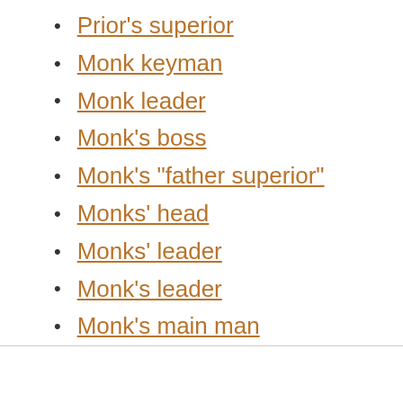Prior's superior
Monk keyman
Monk leader
Monk's boss
Monk's "father superior"
Monks' head
Monks' leader
Monk's leader
Monk's main man